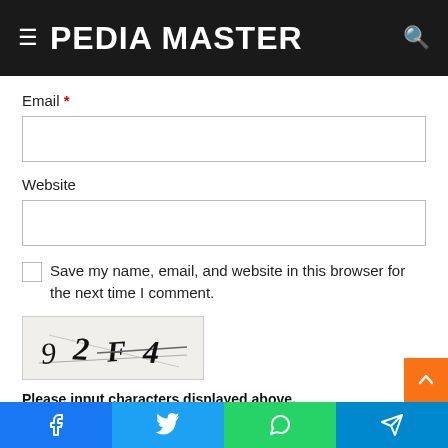PEDIA MASTER
Email *
Website
Save my name, email, and website in this browser for the next time I comment.
[Figure (other): CAPTCHA image showing characters: 9 2 F 4]
Please input characters displayed above.
Facebook, Twitter, WhatsApp, Telegram social share buttons